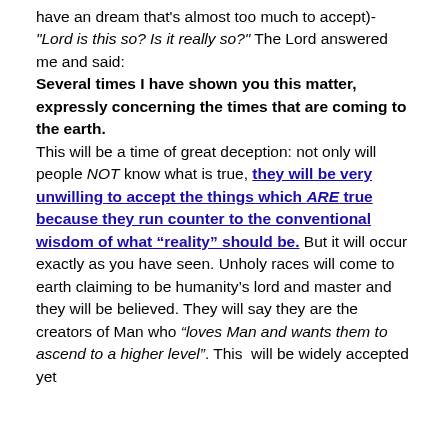have an dream that's almost too much to accept)- "Lord is this so? Is it really so?" The Lord answered me and said: Several times I have shown you this matter, expressly concerning the times that are coming to the earth.

This will be a time of great deception: not only will people NOT know what is true, they will be very unwilling to accept the things which ARE true because they run counter to the conventional wisdom of what "reality" should be. But it will occur exactly as you have seen. Unholy races will come to earth claiming to be humanity's lord and master and they will be believed. They will say they are the creators of Man who "loves Man and wants them to ascend to a higher level". This will be widely accepted yet